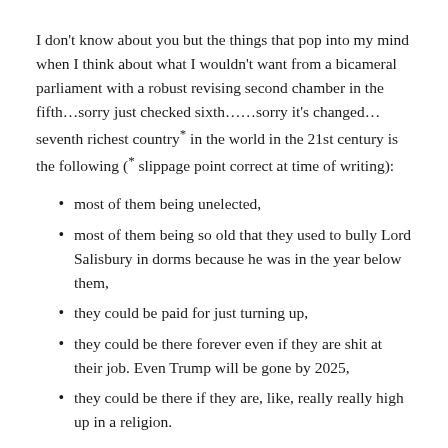I don't know about you but the things that pop into my mind when I think about what I wouldn't want from a bicameral parliament with a robust revising second chamber in the fifth…sorry just checked sixth……sorry it's changed…seventh richest country* in the world in the 21st century is the following (* slippage point correct at time of writing):
most of them being unelected,
most of them being so old that they used to bully Lord Salisbury in dorms because he was in the year below them,
they could be paid for just turning up,
they could be there forever even if they are shit at their job. Even Trump will be gone by 2025,
they could be there if they are, like, really really high up in a religion.